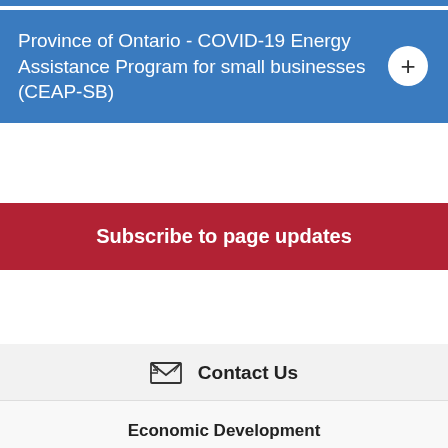Province of Ontario - COVID-19 Energy Assistance Program for small businesses (CEAP-SB)
Subscribe to page updates
Contact Us
Economic Development
21 Trowbridge Street, Meaford